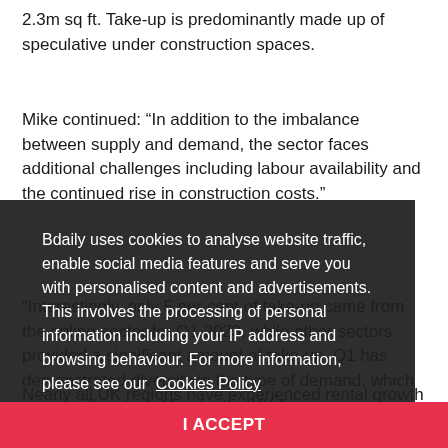2.3m sq ft. Take-up is predominantly made up of speculative under construction spaces.
Mike continued: “In addition to the imbalance between supply and demand, the sector faces additional challenges including labour availability and the continued rise in construction costs.”
“Interestingly, only 5 per cent of take-up came from the online sector for Q1 2023, while other sectors provided a significant amount of take-up. Q1 has demonstrated diversity in the type of demand, which is a significant qualifier for the UK.”
Nearly all UK regions have experienced rental growth throughout Q1 with Yorkshire and North East climbing to £7.75 per square foot, a 24 per cent YoY (Year-over-year)
Bdaily uses cookies to analyse website traffic, enable social media features and serve you with personalised content and advertisements. This involves the processing of personal information including your IP address and browsing behaviour. For more information, please see our Cookies Policy
I ACCEPT